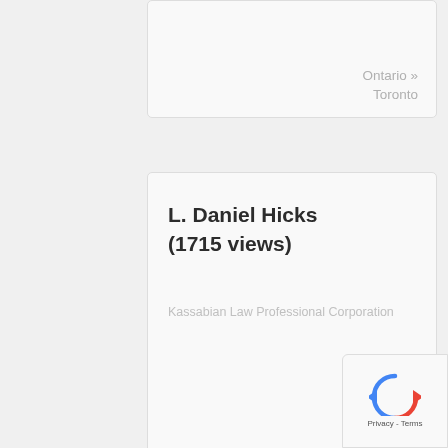Ontario » Toronto
L. Daniel Hicks (1715 views)
Kassabian Law Professional Corporation
Ontario » North York
Robert S. Vanderberg (1476 views)
Vanderberg Robert S.
Alberta » Calgary